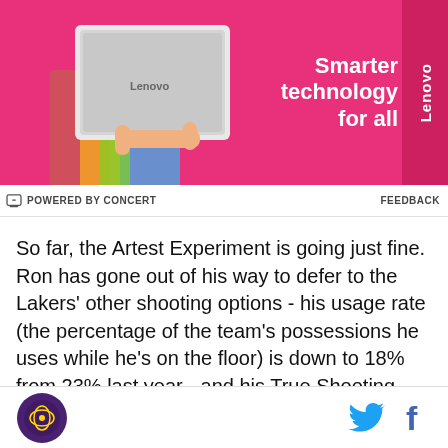[Figure (photo): Lenovo advertisement banner with pink background. A person holding a white laptop on the left. Text reads 'Smarter technology for all' with Lenovo branding on the right side.]
POWERED BY CONCERT   FEEDBACK
So far, the Artest Experiment is going just fine. Ron has gone out of his way to defer to the Lakers' other shooting options - his usage rate (the percentage of the team's possessions he uses while he's on the floor) is down to 18% from 23% last year - and his True Shooting Percentage is up a few ticks. I expect his TS% to increase further, in fact, as Ron's shooting only 62% from the free-throw line. That's well below his career average of 72% and is likely just a fluke. As his
Silver and Black Pride logo | Twitter icon | Facebook icon